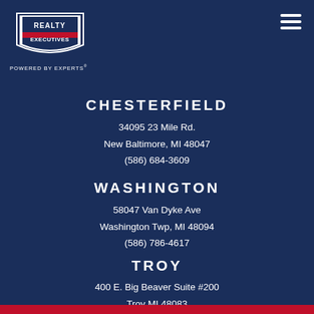[Figure (logo): Realty Executives logo with shield shape, red and white text 'REALTY EXECUTIVES', tagline 'POWERED BY EXPERTS']
CHESTERFIELD
34095 23 Mile Rd.
New Baltimore, MI 48047
(586) 684-3609
WASHINGTON
58047 Van Dyke Ave
Washington Twp, MI 48094
(586) 786-4617
TROY
400 E. Big Beaver Suite #200
Troy MI 48083
(586) 786-4617